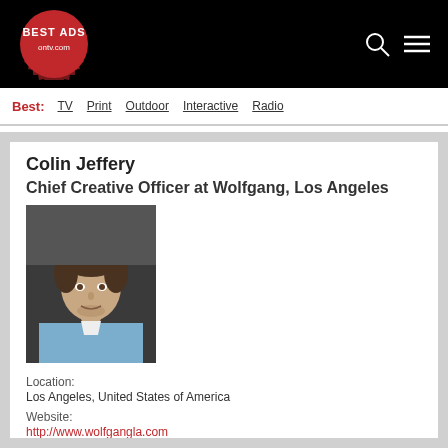[Figure (logo): Best Ads on TV.com logo — red badge circle with white text 'BEST ADS' and 'ontv.com']
Best: TV  Print  Outdoor  Interactive  Radio
Colin Jeffery
Chief Creative Officer at Wolfgang, Los Angeles
[Figure (photo): Headshot photo of Colin Jeffery, a man in a light blue shirt, dark background]
Location:
Los Angeles, United States of America
Website:
http://www.wolfgangla.com